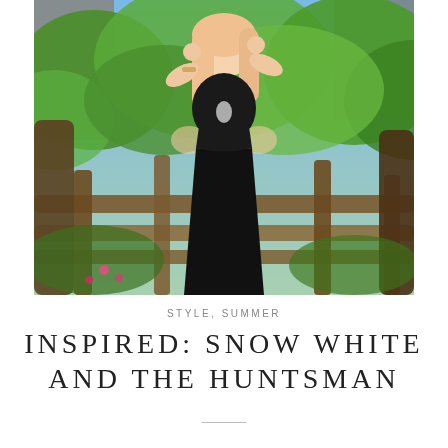[Figure (photo): A woman with long pink/blonde hair wearing a black halter maxi dress with cutout sides, posing with hands behind her head in front of a rustic wooden fence and lush green foliage background.]
STYLE, SUMMER
INSPIRED: SNOW WHITE AND THE HUNTSMAN